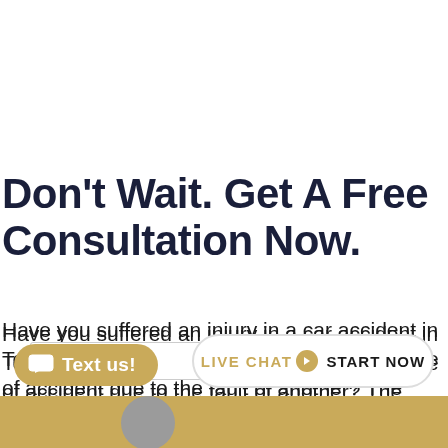Don’t Wait. Get A Free Consultation Now.
Have you suffered an injury in a car accident in Tennessee? Have you been injured in any type of accident due to the fault of another? The Memphis personal injury lawyers at Gold Law Firm are here to h[elp you seek] d just compensation for the pain an[d suffering you] have endured. Contact us
[Figure (screenshot): Language selector dropdown showing 'English' with a flag icon and dropdown arrow]
[Figure (screenshot): Yellow 'Text us!' chat button with speech bubble icon]
[Figure (screenshot): Live chat button with 'LIVE CHAT' in gold and 'START NOW' in bold black, rounded white pill shape]